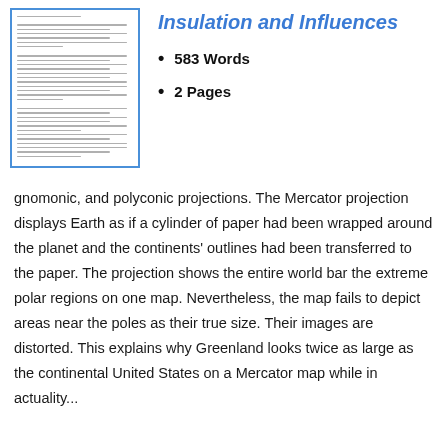[Figure (screenshot): Thumbnail preview of a document page with horizontal lines of text]
Insulation and Influences
583 Words
2 Pages
gnomonic, and polyconic projections. The Mercator projection displays Earth as if a cylinder of paper had been wrapped around the planet and the continents' outlines had been transferred to the paper. The projection shows the entire world bar the extreme polar regions on one map. Nevertheless, the map fails to depict areas near the poles as their true size. Their images are distorted. This explains why Greenland looks twice as large as the continental United States on a Mercator map while in actuality...